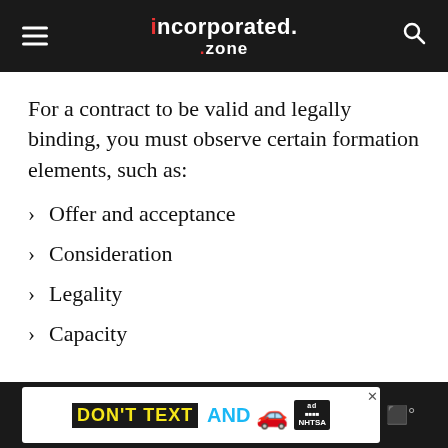incorporated.zone
For a contract to be valid and legally binding, you must observe certain formation elements, such as:
Offer and acceptance
Consideration
Legality
Capacity
[Figure (infographic): Advertisement banner: DON'T TEXT AND [car emoji] with NHTSA ad label and close button]